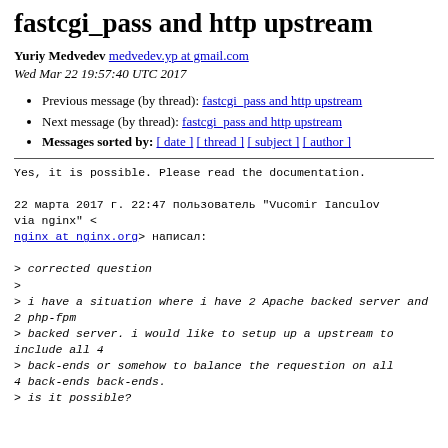fastcgi_pass and http upstream
Yuriy Medvedev medvedev.yp at gmail.com
Wed Mar 22 19:57:40 UTC 2017
Previous message (by thread): fastcgi_pass and http upstream
Next message (by thread): fastcgi_pass and http upstream
Messages sorted by: [ date ] [ thread ] [ subject ] [ author ]
Yes, it is possible. Please read the documentation.

22 марта 2017 г. 22:47 пользователь "Vucomir Ianculov
via nginx" <
nginx at nginx.org> написал:

> corrected question
>
> i have a situation where i have 2 Apache backed server and 2 php-fpm
> backed server. i would like to setup up a upstream to include all 4
> back-ends or somehow to balance the requestion on all 4 back-ends back-ends.
> is it possible?